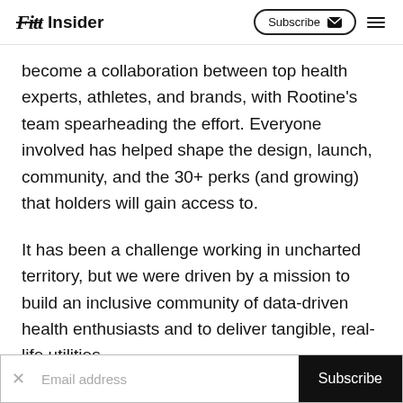Fitt Insider | Subscribe [menu]
become a collaboration between top health experts, athletes, and brands, with Rootine’s team spearheading the effort. Everyone involved has helped shape the design, launch, community, and the 30+ perks (and growing) that holders will gain access to.
It has been a challenge working in uncharted territory, but we were driven by a mission to build an inclusive community of data-driven health enthusiasts and to deliver tangible, real-life utilities
Email address  Subscribe